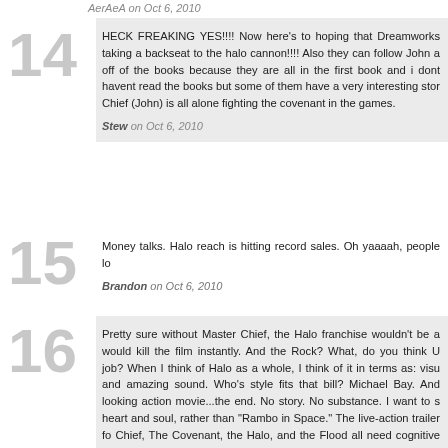AerAeA on Oct 6, 2010
14 HECK FREAKING YES!!!! Now here's to hoping that Dreamworks taking a backseat to the halo cannon!!!! Also they can follow John a off of the books because they are all in the first book and i dont havent read the books but some of them have a very interesting stor Chief (John) is all alone fighting the covenant in the games. Stew on Oct 6, 2010
15 Money talks. Halo reach is hitting record sales. Oh yaaaah, people lo Brandon on Oct 6, 2010
16 Pretty sure without Master Chief, the Halo franchise wouldn't be a would kill the film instantly. And the Rock? What, do you think U job? When I think of Halo as a whole, I think of it in terms as: visu and amazing sound. Who's style fits that bill? Michael Bay. And looking action movie...the end. No story. No substance. I want to s heart and soul, rather than "Rambo in Space." The live-action trailer fo Chief, The Covenant, the Halo, and the Flood all need cognitive par names (similar to Saving Private Ryan), with cameos splashed here and quazzimotto on Oct 6, 2010